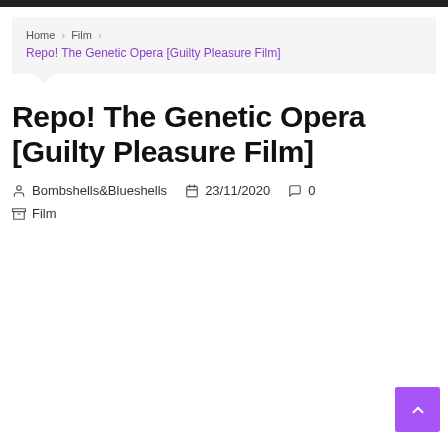Home > Film > Repo! The Genetic Opera [Guilty Pleasure Film]
Repo! The Genetic Opera [Guilty Pleasure Film]
Bombshells&Blueshells   23/11/2020   0   Film